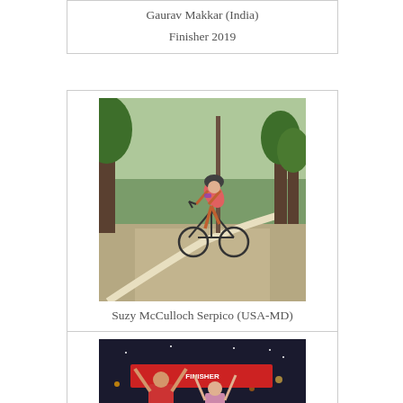Gaurav Makkar (India)
Finisher 2019
[Figure (photo): Female cyclist on a road, wearing a helmet and triathlon gear, leaning forward on a time trial bike on a curved road with trees in background]
Suzy McCulloch Serpico (USA-MD)
Finisher 2019
[Figure (photo): Two people at night holding up a finisher banner, appears to be at a triathlon finish line celebration]